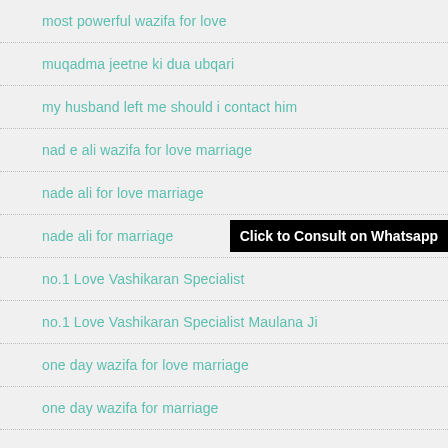most powerful wazifa for love
muqadma jeetne ki dua ubqari
my husband left me should i contact him
nad e ali wazifa for love marriage
nade ali for love marriage
nade ali for marriage
no.1 Love Vashikaran Specialist
no.1 Love Vashikaran Specialist Maulana Ji
one day wazifa for love marriage
one day wazifa for marriage